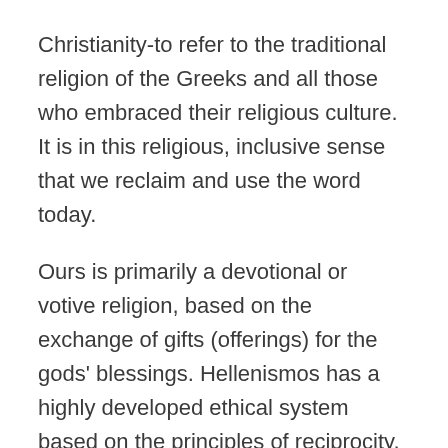Christianity-to refer to the traditional religion of the Greeks and all those who embraced their religious culture. It is in this religious, inclusive sense that we reclaim and use the word today.
Ours is primarily a devotional or votive religion, based on the exchange of gifts (offerings) for the gods' blessings. Hellenismos has a highly developed ethical system based on the principles of reciprocity, hospitality, and moderation.
Many Hellenists consider themselves Reconstructionists. Reconstructionism is a methodology for developing and practicing ancient religions in the modern world. Reconstructionists believe that the reconstruction of ancient...